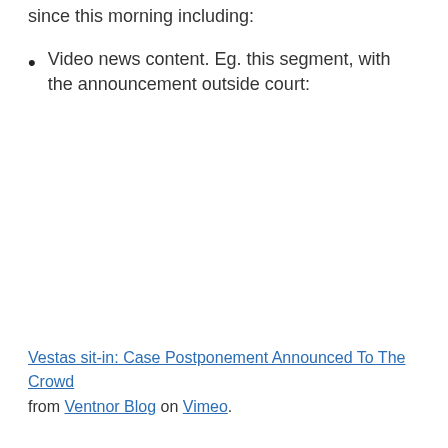since this morning including:
Video news content. Eg. this segment, with the announcement outside court:
[Figure (other): Embedded video placeholder (white space where a video player would appear)]
Vestas sit-in: Case Postponement Announced To The Crowd from Ventnor Blog on Vimeo.